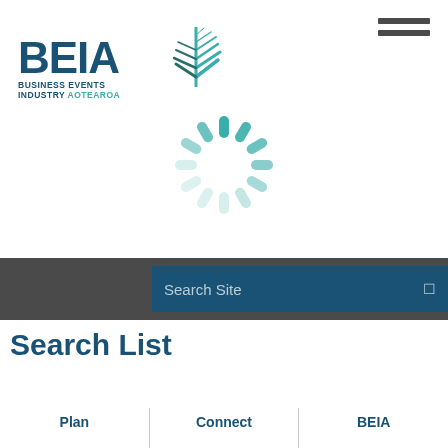[Figure (logo): BEIA Business Events Industry Aotearoa logo with stylized silver fern leaf in teal and dark blue text]
[Figure (other): Loading spinner / activity indicator in teal color]
Search Site
Search List
Plan
Connect
BEIA